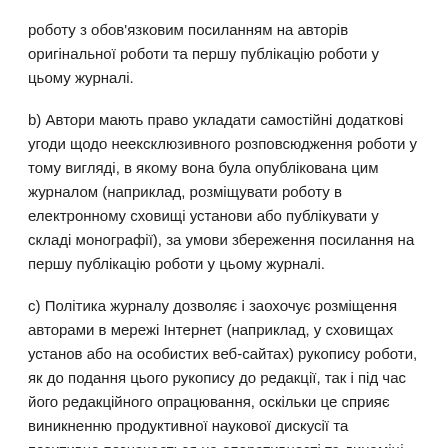роботу з обов'язковим посиланням на авторів оригінальної роботи та першу публікацію роботи у цьому журналі.
b) Автори мають право укладати самостійні додаткові угоди щодо неексклюзивного розповсюдження роботи у тому вигляді, в якому вона була опублікована цим журналом (наприклад, розміщувати роботу в електронному сховищі установи або публікувати у складі монографії), за умови збереження посилання на першу публікацію роботи у цьому журналі.
c) Політика журналу дозволяє і заохочує розміщення авторами в мережі Інтернет (наприклад, у сховищах установ або на особистих веб-сайтах) рукопису роботи, як до подання цього рукопису до редакції, так і під час його редакційного опрацювання, оскільки це сприяє виникненню продуктивної наукової дискусії та позитивно позначається на оперативності та динаміці цитування опублікованої роботи (див. The Effect of Open...